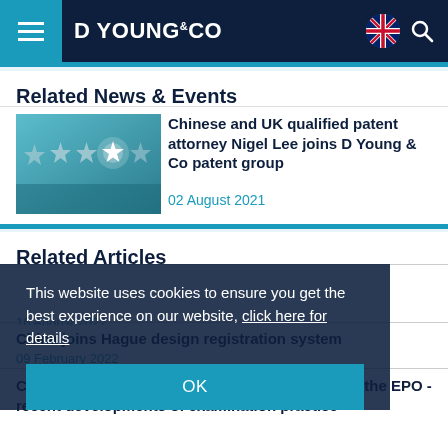D YOUNG & CO
Related News & Events
[Figure (photo): Four silver stars on a reflective surface with one glowing bright white star in the center-right]
Chinese and UK qualified patent attorney Nigel Lee joins D Young & Co patent group
02 August 2021
Related Articles
CNIPA and EPO: Examination trends for business method related inventions
16 August 2022
China joins Hague design registration system
09 February 2022
Computer implemented inventions in CNIPA and the EPO - recent developments of examination practice
This website uses cookies to ensure you get the best experience on our website, click here for details
OK